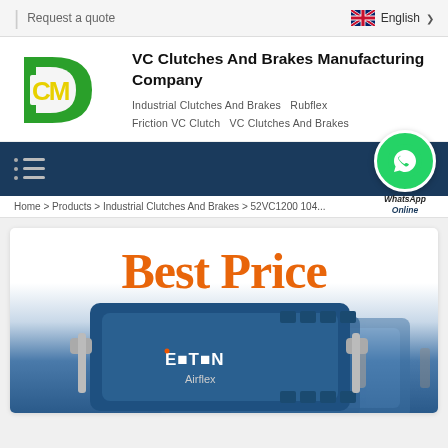Request a quote | English
VC Clutches And Brakes Manufacturing Company
Industrial Clutches And Brakes  Rubflex  Friction VC Clutch  VC Clutches And Brakes
[Figure (logo): VC Clutches and Brakes company logo: green D-shape with yellow CM letters inside]
[Figure (photo): WhatsApp contact badge with green circle and phone icon, text 'WhatsApp Online']
Home > Products > Industrial Clutches And Brakes > 52VC1200 104...
[Figure (photo): Product photo showing blue Eaton Airflex industrial clutches/brakes with 'Best Price' text overlay in orange]